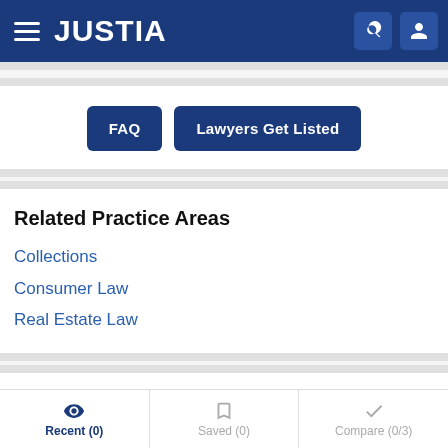JUSTIA
FAQ   Lawyers Get Listed
Related Practice Areas
Collections
Consumer Law
Real Estate Law
Researching Attorney Discipline
Recent (0)   Saved (0)   Compare (0/3)